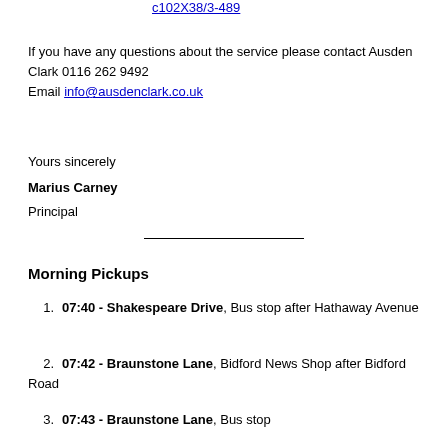c102X38/3-489
If you have any questions about the service please contact Ausden Clark 0116 262 9492 Email info@ausdenclark.co.uk
Yours sincerely
Marius Carney
Principal
___________
Morning Pickups
07:40 - Shakespeare Drive, Bus stop after Hathaway Avenue
07:42 - Braunstone Lane, Bidford News Shop after Bidford Road
07:43 - Braunstone Lane, Bus stop before Sea W...